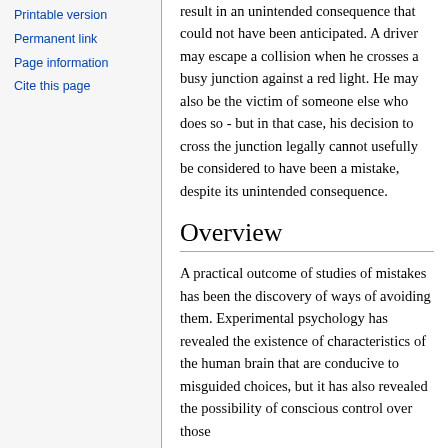Printable version
Permanent link
Page information
Cite this page
result in an unintended consequence that could not have been anticipated. A driver may escape a collision when he crosses a busy junction against a red light. He may also be the victim of someone else who does so - but in that case, his decision to cross the junction legally cannot usefully be considered to have been a mistake, despite its unintended consequence.
Overview
A practical outcome of studies of mistakes has been the discovery of ways of avoiding them. Experimental psychology has revealed the existence of characteristics of the human brain that are conducive to misguided choices, but it has also revealed the possibility of conscious control over those